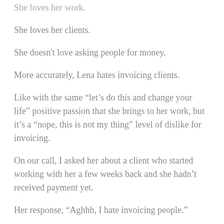She loves her work.
She loves her clients.
She doesn't love asking people for money.
More accurately, Lena hates invoicing clients.
Like with the same “let’s do this and change your life” positive passion that she brings to her work, but it’s a “nope, this is not my thing” level of dislike for invoicing.
On our call, I asked her about a client who started working with her a few weeks back and she hadn’t received payment yet.
Her response, “Aghhh, I hate invoicing people.”
The thing is, she needs to get paid if she wants her business to be just that, a business, and not